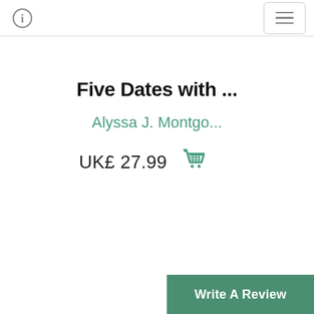ⓘ [hamburger menu]
Five Dates with ...
Alyssa J. Montgo...
UK£ 27.99
Write A Review